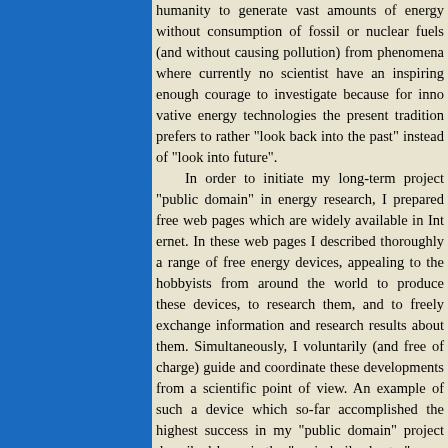humanity to generate vast amounts of energy without consumption of fossil or nuclear fuels (and without causing pollution) from phenomena where currently no scientist have an inspiring enough courage to investigate because for innovative energy technologies the present tradition prefers to rather "look back into the past" instead of "look into future".

In order to initiate my long-term project "public domain" in energy research, I prepared free web pages which are widely available in Internet. In these web pages I described thoroughly a range of free energy devices, appealing to the hobbyists from around the world to produce these devices, to research them, and to freely exchange information and research results about them. Simultaneously, I voluntarily (and free of charge) guide and coordinate these developments from a scientific point of view. An example of such a device which so-far accomplished the highest success in my "public domain" project described here, is the "sonic boiler heater" - see the description of internal mechanisms, build and research it presented in items #... of the totaliztic web page boiler.htm. Also the "Oscillatory Chamber" described on this web page scored many successes and accomplishments. Illustrat...